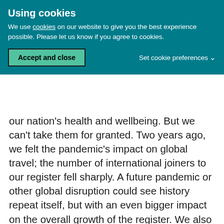Using cookies
We use cookies on our website to give you the best experience possible. Please let us know if you agree to cookies.
Accept and close
Set cookie preferences
our nation's health and wellbeing. But we can't take them for granted. Two years ago, we felt the pandemic's impact on global travel; the number of international joiners to our register fell sharply. A future pandemic or other global disruption could see history repeat itself, but with an even bigger impact on the overall growth of the register. We also need to make sure that we are supporting, valuing and rewarding our internationally trained joiners so their careers can thrive in the UK.
“I very much hope our data will help